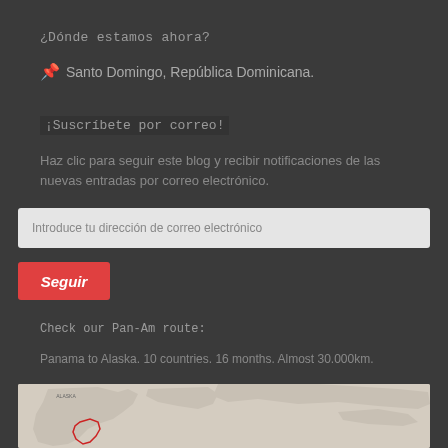¿Dónde estamos ahora?
📌 Santo Domingo, República Dominicana.
¡Suscríbete por correo!
Haz clic para seguir este blog y recibir notificaciones de las nuevas entradas por correo electrónico.
Introduce tu dirección de correo electrónico
Seguir
Check our Pan-Am route:
Panama to Alaska. 10 countries. 16 months. Almost 30.000km.
[Figure (map): Map showing Pan-Am route from Panama to Alaska with red outlined region highlighting part of the Americas, light gray background map]